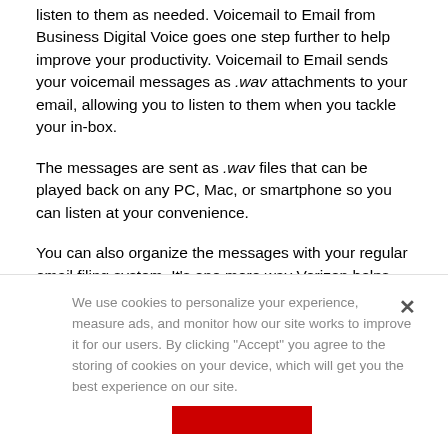listen to them as needed. Voicemail to Email from Business Digital Voice goes one step further to help improve your productivity. Voicemail to Email sends your voicemail messages as .wav attachments to your email, allowing you to listen to them when you tackle your in-box.
The messages are sent as .wav files that can be played back on any PC, Mac, or smartphone so you can listen at your convenience.
You can also organize the messages with your regular email filing system. It's one more way Verizon helps streamline your daily operations.
We use cookies to personalize your experience, measure ads, and monitor how our site works to improve it for our users. By clicking "Accept" you agree to the storing of cookies on your device, which will get you the best experience on our site.